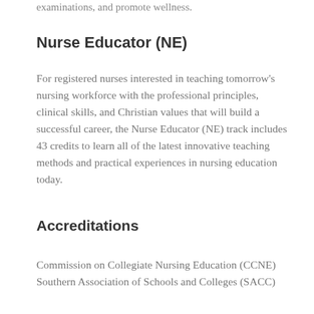examinations, and promote wellness.
Nurse Educator (NE)
For registered nurses interested in teaching tomorrow's nursing workforce with the professional principles, clinical skills, and Christian values that will build a successful career, the Nurse Educator (NE) track includes 43 credits to learn all of the latest innovative teaching methods and practical experiences in nursing education today.
Accreditations
Commission on Collegiate Nursing Education (CCNE)
Southern Association of Schools and Colleges (SACC)